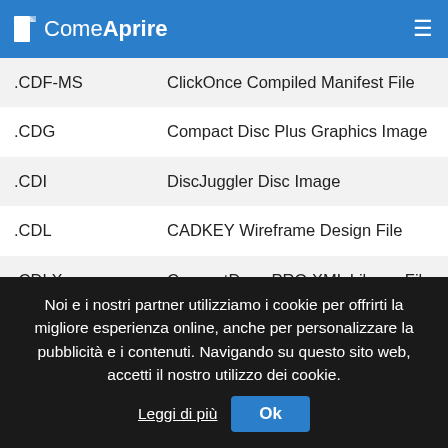ComeAprire
| Extension | Description |
| --- | --- |
| .CDF-MS | ClickOnce Compiled Manifest File |
| .CDG | Compact Disc Plus Graphics Image |
| .CDI | DiscJuggler Disc Image |
| .CDL | CADKEY Wireframe Design File |
| .CDLX | ConceptDraw PRO XML Library File |
| .CDM | Conceptual Data Model File |
| .CDML | Creately Diagram File |
Noi e i nostri partner utilizziamo i cookie per offrirti la migliore esperienza online, anche per personalizzare la pubblicità e i contenuti. Navigando su questo sito web, accetti il nostro utilizzo dei cookie. Leggi di più  Ok